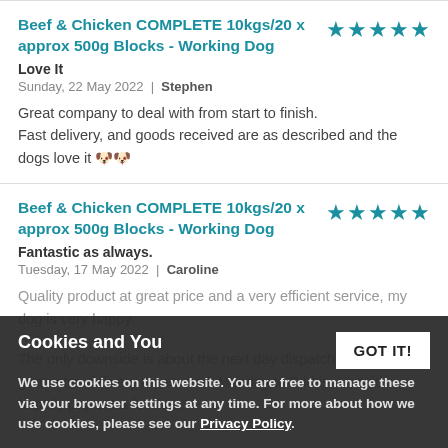Beef & Chicken COMPLETE 10kgs/20 x approx 500g Blocks - Working Dog
Love It
Sunday, 22 May 2022 | Stephen
Great company to deal with from start to finish. Fast delivery, and goods received are as described and the dogs love it 🐾🐾
Beef & Chicken COMPLETE 10kgs/20 x approx 500g Blocks - Working Dog
Fantastic as always.
Tuesday, 17 May 2022 | Caroline
Quality product at great price and a very efficient service, my dog is very happy.
The only downside is about the next day dispatch, cannot guarantee delivery as we work Monday to Friday, I would happily pay extra for the...
Cookies and You
We use cookies on this website. You are free to manage these via your browser settings at any time. For more about how we use cookies, please see our Privacy Policy.